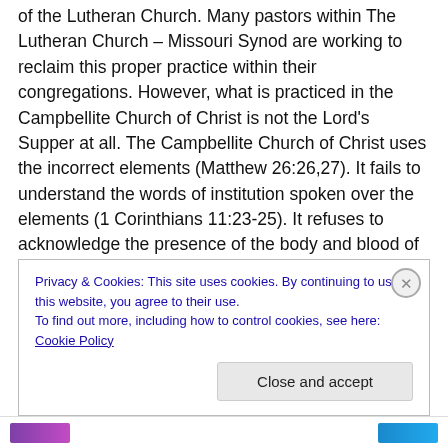of the Lutheran Church. Many pastors within The Lutheran Church – Missouri Synod are working to reclaim this proper practice within their congregations. However, what is practiced in the Campbellite Church of Christ is not the Lord's Supper at all. The Campbellite Church of Christ uses the incorrect elements (Matthew 26:26,27). It fails to understand the words of institution spoken over the elements (1 Corinthians 11:23-25). It refuses to acknowledge the presence of the body and blood of the Christ in the Lord's Supper (Matthew 26:26,27; 1 Corinthians 10:14-17). It refuses to acknowledge that the
Privacy & Cookies: This site uses cookies. By continuing to use this website, you agree to their use.
To find out more, including how to control cookies, see here: Cookie Policy
Close and accept